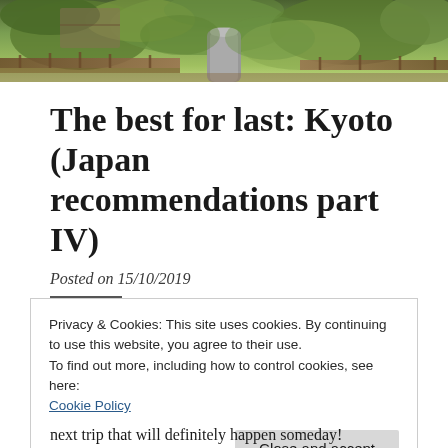[Figure (photo): Photograph of a Japanese garden scene with lush green foliage, a stone monument, and wooden decking structures]
The best for last: Kyoto (Japan recommendations part IV)
Posted on 15/10/2019
Privacy & Cookies: This site uses cookies. By continuing to use this website, you agree to their use.
To find out more, including how to control cookies, see here:
Cookie Policy
Close and accept
next trip that will definitely happen someday!